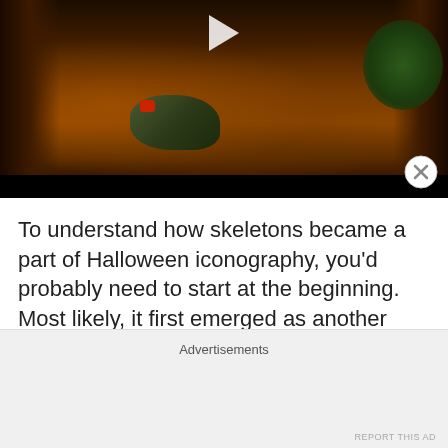[Figure (photo): Night scene photo/video thumbnail showing a garden or forest floor with rocks, moss, plants, and glowing candlelight. A play button triangle is visible at the top center. The scene has dark wooden posts on sides and green foliage on the right. Warm amber/orange lighting illuminates the ground.]
To understand how skeletons became a part of Halloween iconography, you'd probably need to start at the beginning. Most likely, it first emerged as another uneasy compromise between the Christian
Advertisements
REPORT THIS AD